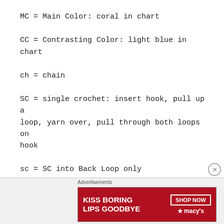MC = Main Color: coral in chart
CC = Contrasting Color: light blue in chart
ch = chain
SC = single crochet: insert hook, pull up a loop, yarn over, pull through both loops on hook
sc = SC into Back Loop only
[Figure (other): Advertisement banner for Macy's lip products reading 'KISS BORING LIPS GOODBYE' with SHOP NOW button and Macy's star logo]
Advertisements